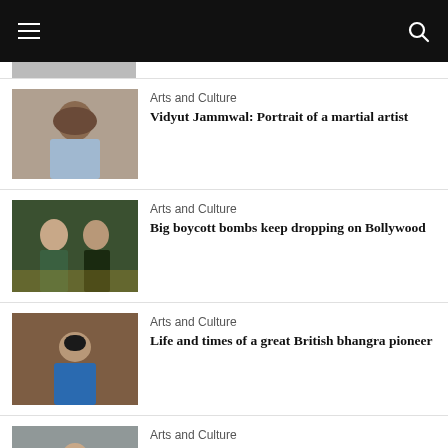[Figure (photo): Vidyut Jammwal portrait photo - man with curly hair in blue shirt]
Arts and Culture
Vidyut Jammwal: Portrait of a martial artist
[Figure (photo): Two people in military uniform posing - Bollywood film still]
Arts and Culture
Big boycott bombs keep dropping on Bollywood
[Figure (photo): Man wearing blue turtleneck and black turban - British bhangra pioneer]
Arts and Culture
Life and times of a great British bhangra pioneer
[Figure (photo): Young man in light colored shirt standing on street]
Arts and Culture
Ssudeep Sahir: Mastering magnificent dreams